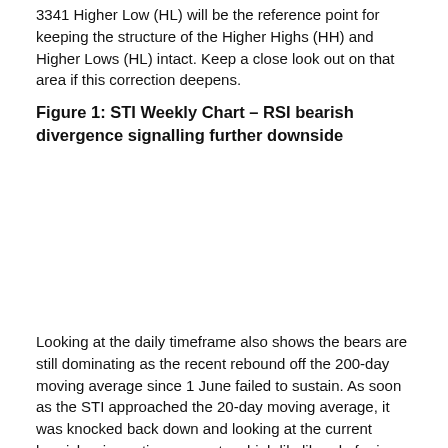3341 Higher Low (HL) will be the reference point for keeping the structure of the Higher Highs (HH) and Higher Lows (HL) intact. Keep a close look out on that area if this correction deepens.
Figure 1: STI Weekly Chart – RSI bearish divergence signalling further downside
[Figure (other): STI Weekly Chart showing RSI bearish divergence — chart image placeholder]
Looking at the daily timeframe also shows the bears are still dominating as the recent rebound off the 200-day moving average since 1 June failed to sustain. As soon as the STI approached the 20-day moving average, it was knocked back down and looking at the current bearish price action suggests a high likelihood of price breaking below the 200-day moving average.
The 200-day moving average will be the most important level to